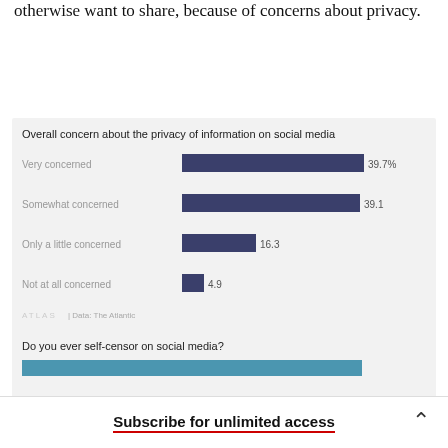otherwise want to share, because of concerns about privacy.
[Figure (bar-chart): Overall concern about the privacy of information on social media]
[Figure (bar-chart): Partially visible bar chart]
Subscribe for unlimited access